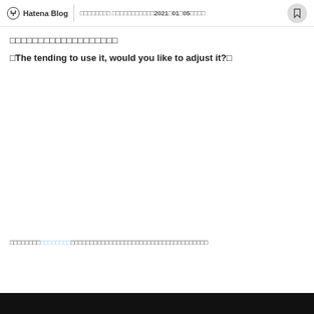Hatena Blog | □□□□□□□□ □□□□□□□□□□□2021□01□05□□□□
□□□□□□□□□□□□□□□□□□□
□The tending to use it, would you like to adjust it?□
□□□□□□□□□□□□□□□□□□□□□□□□□□□□□□□□□□□□□□□□□□□□